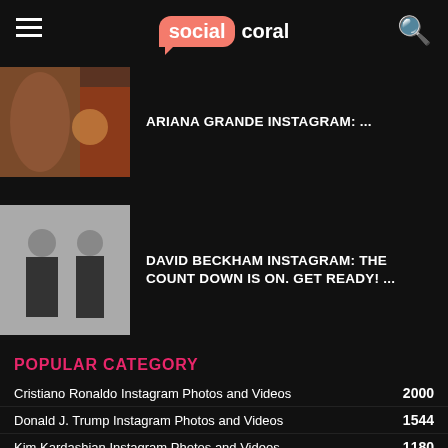social coral
[Figure (photo): Partial thumbnail image, warm tones, person visible]
ARIANA GRANDE INSTAGRAM: ...
[Figure (photo): Two men in black t-shirts, black and white photo]
DAVID BECKHAM INSTAGRAM: THE COUNT DOWN IS ON. GET READY! ...
POPULAR CATEGORY
Cristiano Ronaldo Instagram Photos and Videos 2000
Donald J. Trump Instagram Photos and Videos 1544
Kim Kardashian Instagram Photos and Videos 1180
Victoria Beckham Instagram Photos and Videos 943